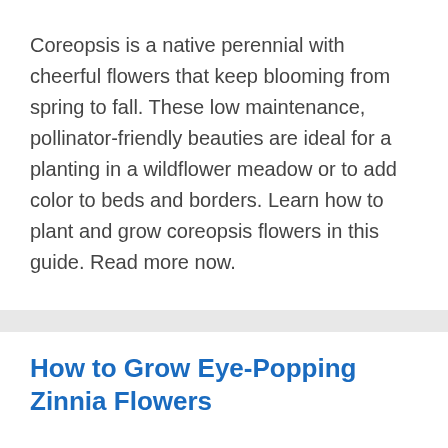Coreopsis is a native perennial with cheerful flowers that keep blooming from spring to fall. These low maintenance, pollinator-friendly beauties are ideal for a planting in a wildflower meadow or to add color to beds and borders. Learn how to plant and grow coreopsis flowers in this guide. Read more now.
How to Grow Eye-Popping Zinnia Flowers